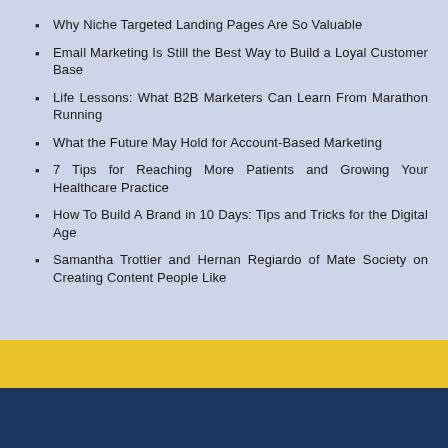Why Niche Targeted Landing Pages Are So Valuable
Email Marketing Is Still the Best Way to Build a Loyal Customer Base
Life Lessons: What B2B Marketers Can Learn From Marathon Running
What the Future May Hold for Account-Based Marketing
7 Tips for Reaching More Patients and Growing Your Healthcare Practice
How To Build A Brand in 10 Days: Tips and Tricks for the Digital Age
Samantha Trottier and Hernan Regiardo of Mate Society on Creating Content People Like